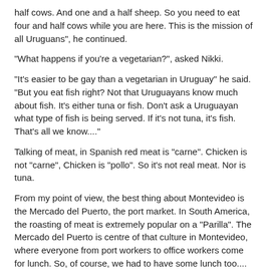half cows. And one and a half sheep. So you need to eat four and half cows while you are here. This is the mission of all Uruguans", he continued.
“What happens if you’re a vegetarian?”, asked Nikki.
“It’s easier to be gay than a vegetarian in Uruguay” he said. “But you eat fish right? Not that Uruguayans know much about fish. It’s either tuna or fish. Don't ask a Uruguayan what type of fish is being served. If it’s not tuna, it’s fish. That’s all we know....”
Talking of meat, in Spanish red meat is “carne”. Chicken is not “carne”, Chicken is “pollo”. So it’s not real meat. Nor is tuna.
From my point of view, the best thing about Montevideo is the Mercado del Puerto, the port market. In South America, the roasting of meat is extremely popular on a “Parilla”. The Mercado del Puerto is centre of that culture in Montevideo, where everyone from port workers to office workers come for lunch. So, of course, we had to have some lunch too....
[Figure (photo): Dark photograph showing a light source (possibly fire or grilling embers) at the Mercado del Puerto market in Montevideo]